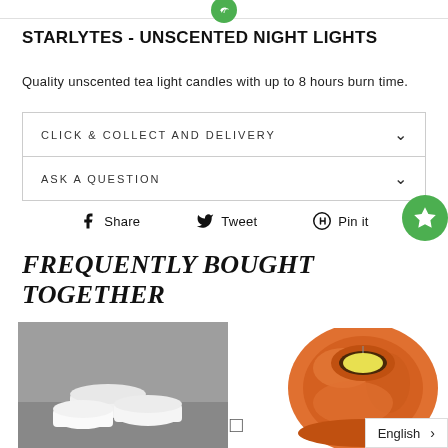[Logo - green circular icon]
STARLYTES - UNSCENTED NIGHT LIGHTS
Quality unscented tea light candles with up to 8 hours burn time.
CLICK & COLLECT AND DELIVERY
ASK A QUESTION
Share  Tweet  Pin it
FREQUENTLY BOUGHT TOGETHER
[Figure (photo): Two white unscented tea light candles on a grey surface]
[Figure (photo): Orange Himalayan salt candle holder with a yellow tea light candle inside]